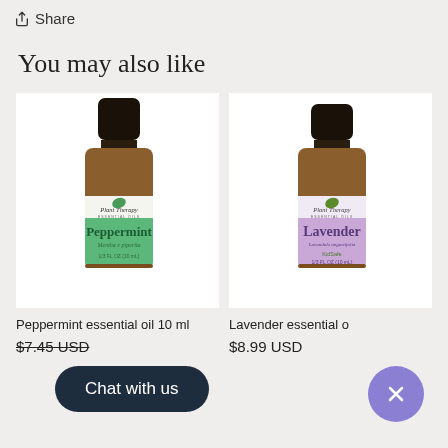Share
You may also like
[Figure (photo): Plant Therapy Peppermint essential oil 10mL bottle with green label]
[Figure (photo): Plant Therapy Lavender essential oil bottle with purple label]
Peppermint essential oil 10 ml
$7.45 USD
Lavender essential oil
$8.99 USD
Chat with us